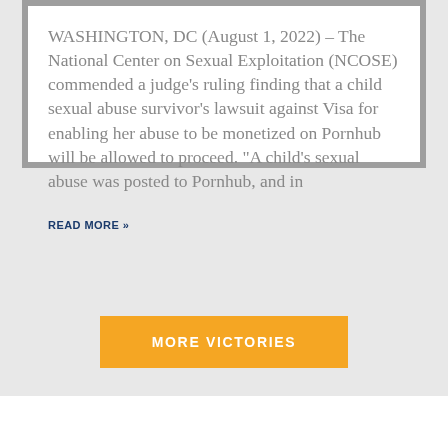WASHINGTON, DC (August 1, 2022) – The National Center on Sexual Exploitation (NCOSE) commended a judge's ruling finding that a child sexual abuse survivor's lawsuit against Visa for enabling her abuse to be monetized on Pornhub will be allowed to proceed. "A child's sexual abuse was posted to Pornhub, and in
READ MORE »
MORE VICTORIES